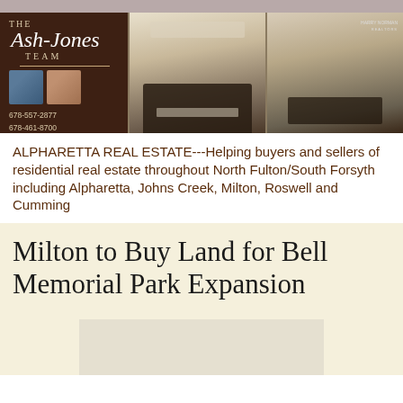[Figure (photo): The Ash-Jones Team banner with logo panel on left (brown background, script text, phone numbers, agent photos) and two interior home photos on right (kitchen with island, living room with fireplace). Harry Norman Realtors branding.]
ALPHARETTA REAL ESTATE---Helping buyers and sellers of residential real estate throughout North Fulton/South Forsyth including Alpharetta, Johns Creek, Milton, Roswell and Cumming
Milton to Buy Land for Bell Memorial Park Expansion
[Figure (photo): Placeholder image box for article photo]